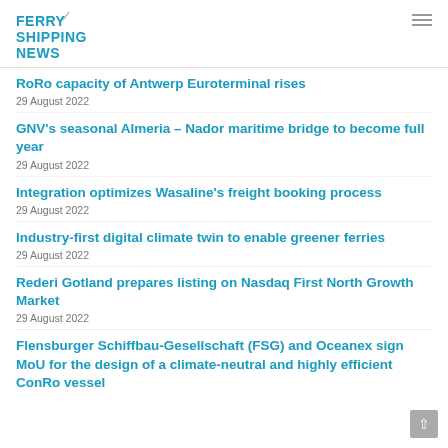FERRY SHIPPING NEWS
RoRo capacity of Antwerp Euroterminal rises
29 August 2022
GNV's seasonal Almeria – Nador maritime bridge to become full year
29 August 2022
Integration optimizes Wasaline's freight booking process
29 August 2022
Industry-first digital climate twin to enable greener ferries
29 August 2022
Rederi Gotland prepares listing on Nasdaq First North Growth Market
29 August 2022
Flensburger Schiffbau-Gesellschaft (FSG) and Oceanex sign MoU for the design of a climate-neutral and highly efficient ConRo vessel